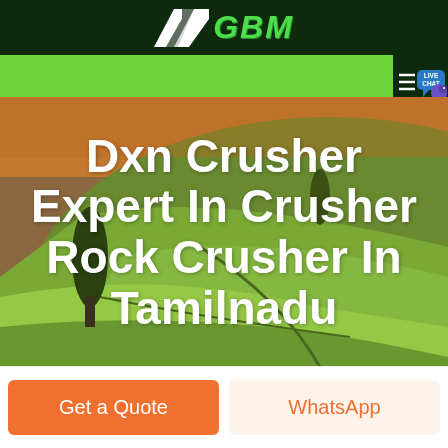GBM
[Figure (screenshot): GBM company logo with arrow/chevron graphic and green nav bar with live chat button]
Dxn Crusher Expert In Crusher Rock Crusher In Tamilnadu
Get a Quote
WhatsApp